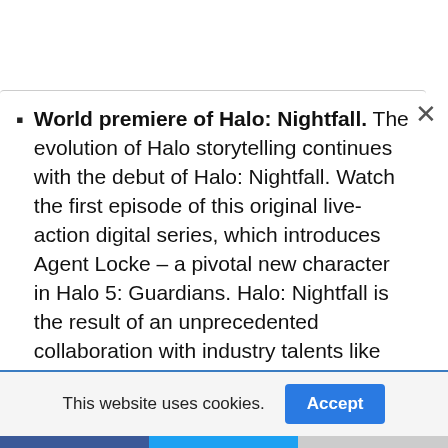World premiere of Halo: Nightfall. The evolution of Halo storytelling continues with the debut of Halo: Nightfall. Watch the first episode of this original live-action digital series, which introduces Agent Locke – a pivotal new character in Halo 5: Guardians. Halo: Nightfall is the result of an unprecedented collaboration with industry talents like Ridley Scott and Sergio
This website uses cookies.
Accept